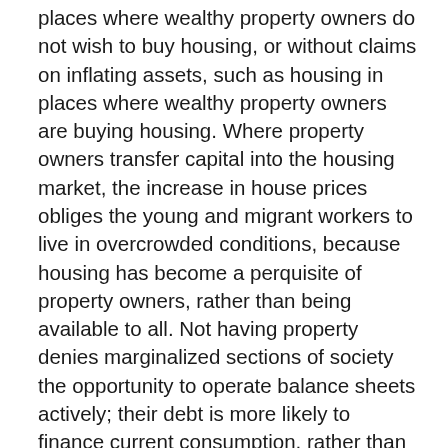places where wealthy property owners do not wish to buy housing, or without claims on inflating assets, such as housing in places where wealthy property owners are buying housing. Where property owners transfer capital into the housing market, the increase in house prices obliges the young and migrant workers to live in overcrowded conditions, because housing has become a perquisite of property owners, rather than being available to all. Not having property denies marginalized sections of society the opportunity to operate balance sheets actively; their debt is more likely to finance current consumption, rather than the acquisition of inflatable assets. These are the lower-class counterparts of those among the propertied classes whose possession of inflated assets allows them to consume in excess of their incomes. An unequal distribution of income is thus enhanced by a growing distinction between the “balance sheet” rich, and the “balance sheet” poor.